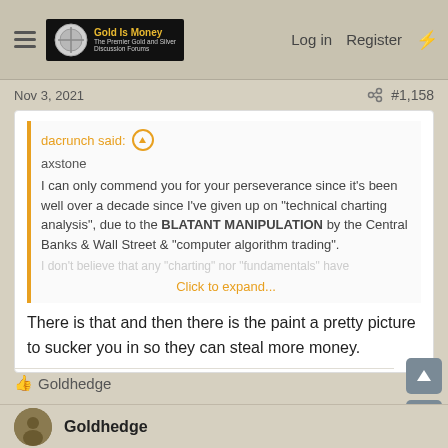Gold Is Money — The Premier Gold and Silver Discussion Forums | Log in  Register
Nov 3, 2021  #1,158
dacrunch said:
axstone

I can only commend you for your perseverance since it's been well over a decade since I've given up on "technical charting analysis", due to the BLATANT MANIPULATION by the Central Banks & Wall Street & "computer algorithm trading".

I don't believe that any "charting" nor "fundamentals" have

Click to expand...
There is that and then there is the paint a pretty picture to sucker you in so they can steal more money.
👍 Goldhedge
Goldhedge